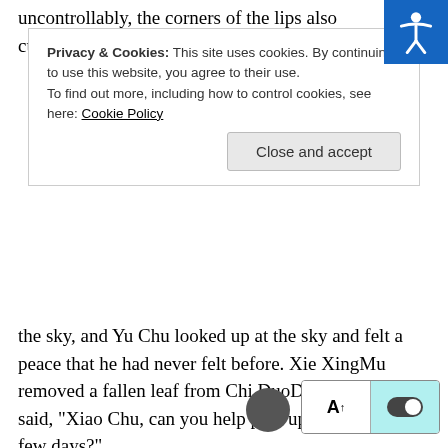uncontrollably, the corners of the lips also curled up. After
Privacy & Cookies: This site uses cookies. By continuing to use this website, you agree to their use.
To find out more, including how to control cookies, see here: Cookie Policy
[Close and accept]
the sky, and Yu Chu looked up at the sky and felt a peace that he had never felt before. Xie XingMu removed a fallen leaf from Chi DuoDuo's head and said, “Xiao Chu, can you help pick up DuoDuo for a few days?”

“Where are you going?” Yu Chu immediately asked.

Xie XingMu smiled, “Not going anywhere, I just have a new case at hand, so I’m probably going to be very busy, and I may not be able to go home.”

“Oh. Okay.” Yu Chu answered, holding back his loss.

Xie XingMu said, “The security level of the home is high. As long as you go out, take a taxi, don’t go out alone